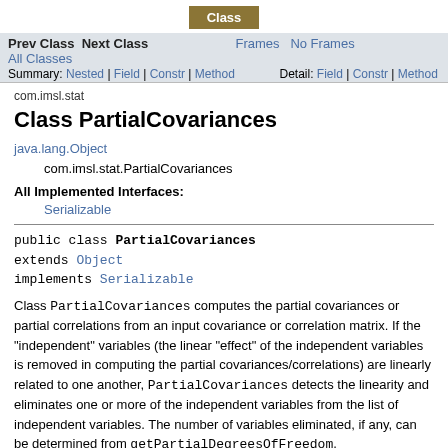Class
Prev Class  Next Class  Frames  No Frames  All Classes
Summary: Nested | Field | Constr | Method   Detail: Field | Constr | Method
com.imsl.stat
Class PartialCovariances
java.lang.Object
    com.imsl.stat.PartialCovariances
All Implemented Interfaces:
Serializable
public class PartialCovariances
extends Object
implements Serializable
Class PartialCovariances computes the partial covariances or partial correlations from an input covariance or correlation matrix. If the "independent" variables (the linear "effect" of the independent variables is removed in computing the partial covariances/correlations) are linearly related to one another, PartialCovariances detects the linearity and eliminates one or more of the independent variables from the list of independent variables. The number of variables eliminated, if any, can be determined from getPartialDegreesOfFreedom.